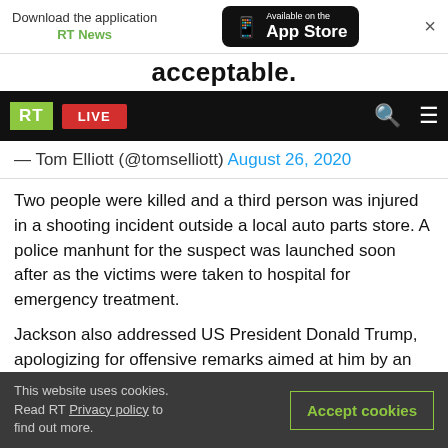[Figure (screenshot): App download banner: 'Download the application RT News' with App Store button and close X]
acceptable.
[Figure (screenshot): RT navigation bar with logo, LIVE button, search and menu icons]
— Tom Elliott (@tomselliott) August 26, 2020
Two people were killed and a third person was injured in a shooting incident outside a local auto parts store. A police manhunt for the suspect was launched soon after as the victims were taken to hospital for emergency treatment.
Jackson also addressed US President Donald Trump, apologizing for offensive remarks aimed at him by an unnamed family member, as well as for
This website uses cookies. Read RT Privacy policy to find out more.